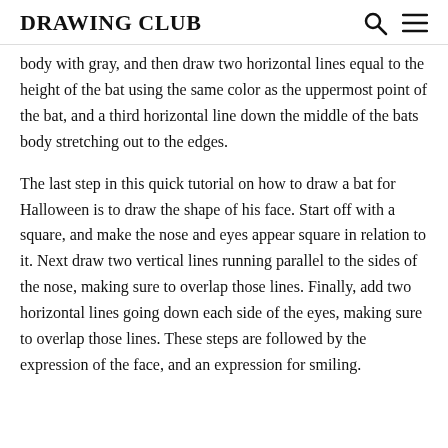DRAWING CLUB
body with gray, and then draw two horizontal lines equal to the height of the bat using the same color as the uppermost point of the bat, and a third horizontal line down the middle of the bats body stretching out to the edges.
The last step in this quick tutorial on how to draw a bat for Halloween is to draw the shape of his face. Start off with a square, and make the nose and eyes appear square in relation to it. Next draw two vertical lines running parallel to the sides of the nose, making sure to overlap those lines. Finally, add two horizontal lines going down each side of the eyes, making sure to overlap those lines. These steps are followed by the expression of the face, and an expression for smiling.